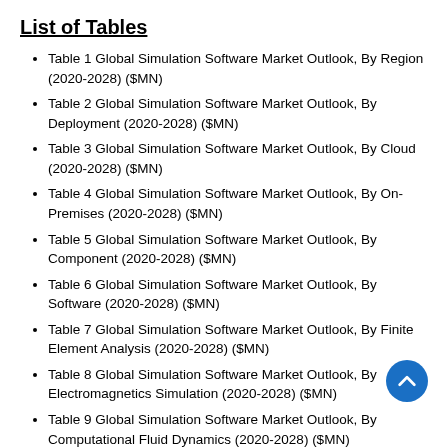List of Tables
Table 1 Global Simulation Software Market Outlook, By Region (2020-2028) ($MN)
Table 2 Global Simulation Software Market Outlook, By Deployment (2020-2028) ($MN)
Table 3 Global Simulation Software Market Outlook, By Cloud (2020-2028) ($MN)
Table 4 Global Simulation Software Market Outlook, By On-Premises (2020-2028) ($MN)
Table 5 Global Simulation Software Market Outlook, By Component (2020-2028) ($MN)
Table 6 Global Simulation Software Market Outlook, By Software (2020-2028) ($MN)
Table 7 Global Simulation Software Market Outlook, By Finite Element Analysis (2020-2028) ($MN)
Table 8 Global Simulation Software Market Outlook, By Electromagnetics Simulation (2020-2028) ($MN)
Table 9 Global Simulation Software Market Outlook, By Computational Fluid Dynamics (2020-2028) ($MN)
Table 10 Global Simulation Software Market Outlook, By